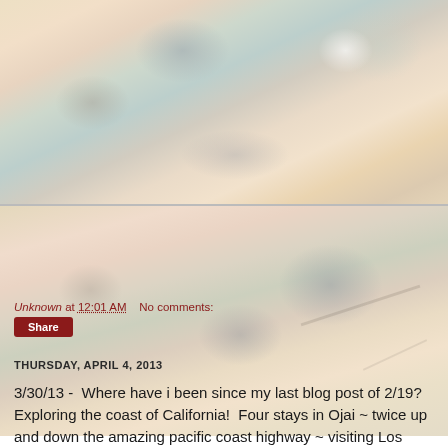[Figure (photo): Blurred watercolor-like photo showing soft pastel tones of beige, pink, grey-blue — possibly a sky or landscape. Top portion of a two-part image.]
[Figure (photo): Blurred watercolor-like photo, continuation of the upper image. Soft pastel tones with grey-blue blobs and a crack-like line. Pale peach and beige tones dominate.]
Unknown at 12:01 AM    No comments:
Share
THURSDAY, APRIL 4, 2013
3/30/13 -  Where have i been since my last blog post of 2/19? Exploring the coast of California!  Four stays in Ojai ~ twice up and down the amazing pacific coast highway ~ visiting Los Osos, Morro Bay, Cambria, Big Sur ~ and at long